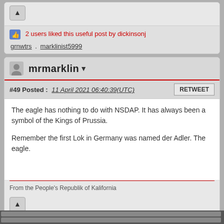2 users liked this useful post by dickinsonj
grnwtrs , marklinist5999
mrmarklin
#49 Posted : 11 April 2021 06:40:39(UTC)
The eagle has nothing to do with NSDAP. It has always been a symbol of the Kings of Prussia.

Remember the first Lok in Germany was named der Adler. The eagle.
From the People's Republik of Kalifornia
3 users liked this useful post by mrmarklin
marklinist5999 , Marklineisenbahn , Webmaster